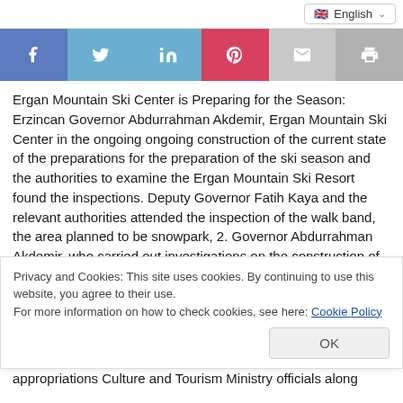English
[Figure (infographic): Social media share bar with icons for Facebook, Twitter, LinkedIn, Pinterest, Email, and Print]
Ergan Mountain Ski Center is Preparing for the Season: Erzincan Governor Abdurrahman Akdemir, Ergan Mountain Ski Center in the ongoing ongoing construction of the current state of the preparations for the preparation of the ski season and the authorities to examine the Ergan Mountain Ski Resort found the inspections. Deputy Governor Fatih Kaya and the relevant authorities attended the inspection of the walk band, the area planned to be snowpark, 2. Governor Abdurrahman Akdemir, who carried out investigations on the construction of the day and construction of landscaping facilities, stated that
Privacy and Cookies: This site uses cookies. By continuing to use this website, you agree to their use.
For more information on how to check cookies, see here: Cookie Policy
OK
appropriations Culture and Tourism Ministry officials along